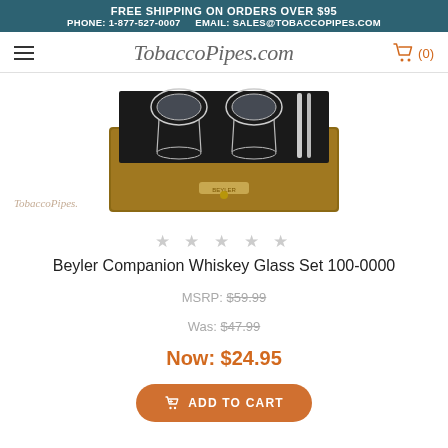FREE SHIPPING ON ORDERS OVER $95
PHONE: 1-877-527-0007   EMAIL: SALES@TOBACCOPIPES.COM
[Figure (logo): TobaccoPipes.com logo with hamburger menu and cart icon showing (0)]
[Figure (photo): Beyler Companion Whiskey Glass Set in wooden box with crystal glasses and accessories, with TobaccoPipes.com watermark]
★ ★ ★ ★ ★
Beyler Companion Whiskey Glass Set 100-0000
MSRP: $59.99
Was: $47.99
Now: $24.95
ADD TO CART